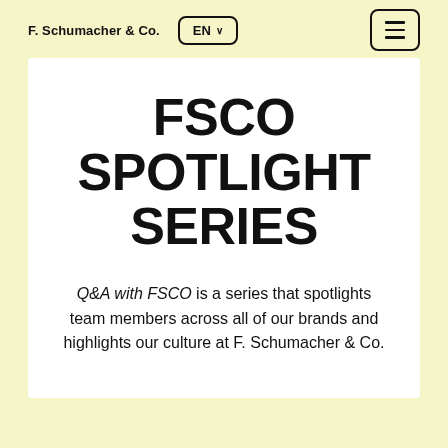F. Schumacher & Co.  EN  ☰
FSCO SPOTLIGHT SERIES
Q&A with FSCO is a series that spotlights team members across all of our brands and highlights our culture at F. Schumacher & Co.